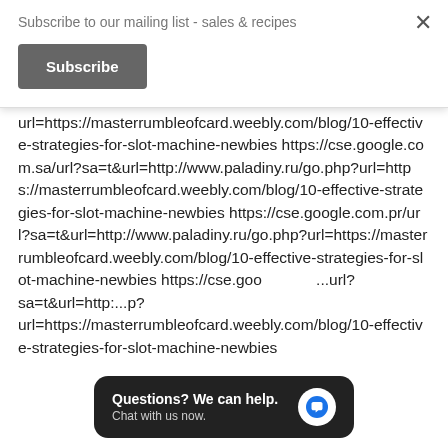Subscribe to our mailing list - sales & recipes
Subscribe
url=https://masterrumbleofcard.weebly.com/blog/10-effective-strategies-for-slot-machine-newbies https://cse.google.com.sa/url?sa=t&url=http://www.paladiny.ru/go.php?url=https://masterrumbleofcard.weebly.com/blog/10-effective-strategies-for-slot-machine-newbies https://cse.google.com.pr/url?sa=t&url=http://www.paladiny.ru/go.php?url=https://masterrumbleofcard.weebly.com/blog/10-effective-strategies-for-slot-machine-newbies https://cse.goo...url?sa=t&url=http://...p?url=https://masterrumbleofcard.weebly.com/blog/10-effective-strategies-for-slot-machine-newbies
Questions? We can help. Chat with us now.